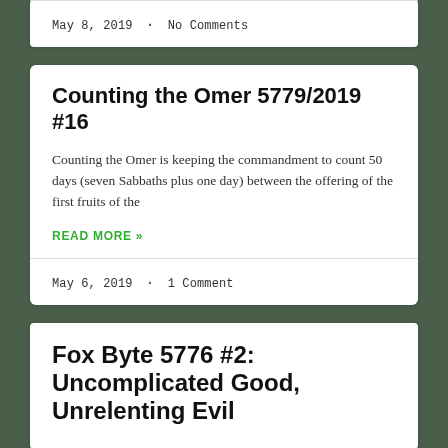May 8, 2019  ·  No Comments
Counting the Omer 5779/2019 #16
Counting the Omer is keeping the commandment to count 50 days (seven Sabbaths plus one day) between the offering of the first fruits of the
READ MORE »
May 6, 2019  ·  1 Comment
Fox Byte 5776 #2: Uncomplicated Good, Unrelenting Evil